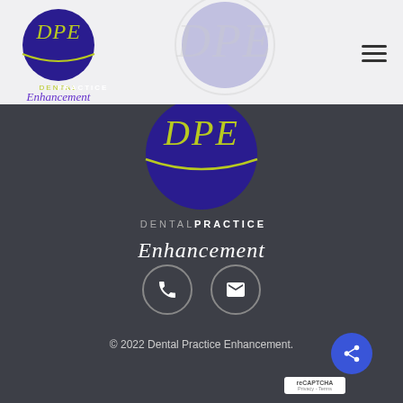[Figure (logo): DPE Dental Practice Enhancement logo in header - circular blue logo with DPE initials and green text below]
[Figure (logo): Faint large DPE logo watermark in header area]
[Figure (logo): DPE circular blue logo centered in dark section with Dental Practice Enhancement brand text]
[Figure (infographic): Two circular icon buttons - phone and email icons on dark background]
© 2022 Dental Practice Enhancement.
[Figure (infographic): Blue circular share button with network share icon, and reCAPTCHA badge bottom right]